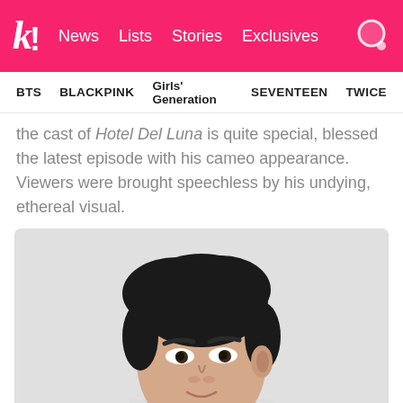k! News Lists Stories Exclusives
BTS BLACKPINK Girls' Generation SEVENTEEN TWICE
the cast of Hotel Del Luna is quite special, blessed the latest episode with his cameo appearance. Viewers were brought speechless by his undying, ethereal visual.
[Figure (photo): Portrait photo of a young Korean man with black hair against a light background]